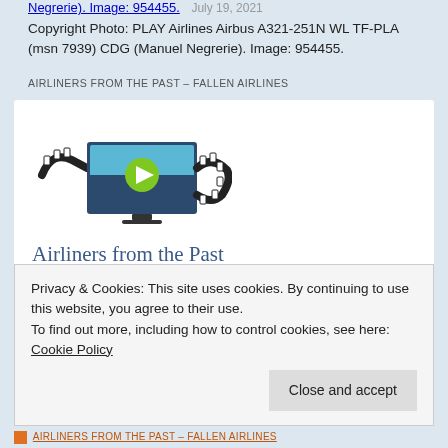Negrerie). Image: 954455. July 19, 2021
Copyright Photo: PLAY Airlines Airbus A321-251N WL TF-PLA (msn 7939) CDG (Manuel Negrerie). Image: 954455.
AIRLINERS FROM THE PAST – FALLEN AIRLINES
[Figure (screenshot): Video play button icon with film strip, representing a video player interface for Airliners from the Past content.]
Airliners from the Past
Privacy & Cookies: This site uses cookies. By continuing to use this website, you agree to their use.
To find out more, including how to control cookies, see here: Cookie Policy
AIRLINERS FROM THE PAST – FALLEN AIRLINES